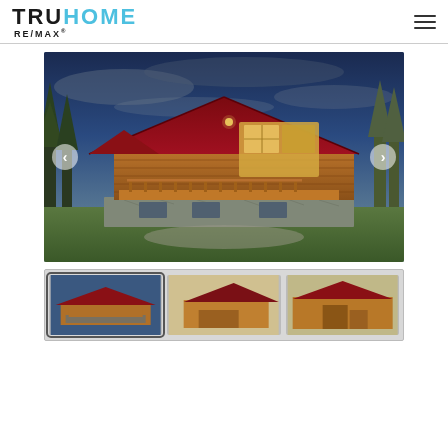TRUHOME RE/MAX
[Figure (photo): Exterior photo of a large log cabin home with red metal roof, stone foundation, large windows, wraparound deck, surrounded by evergreen and aspen trees under a dramatic blue-grey cloudy sky. Navigation arrows visible on left and right sides.]
[Figure (photo): Thumbnail strip showing three small preview photos of the same log cabin property from different angles.]